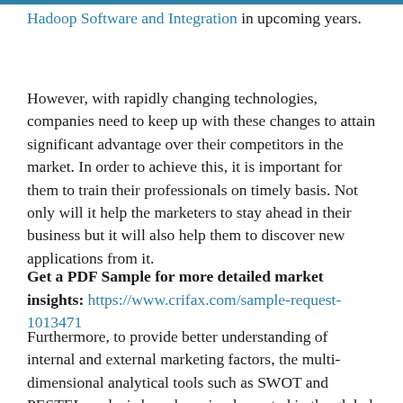Hadoop Software and Integration in upcoming years.
However, with rapidly changing technologies, companies need to keep up with these changes to attain significant advantage over their competitors in the market. In order to achieve this, it is important for them to train their professionals on timely basis. Not only will it help the marketers to stay ahead in their business but it will also help them to discover new applications from it.
Get a PDF Sample for more detailed market insights: https://www.crifax.com/sample-request-1013471
Furthermore, to provide better understanding of internal and external marketing factors, the multi-dimensional analytical tools such as SWOT and PESTEL analysis have been implemented in the global Hadoop Software and Integration market report. Moreover, the report consists of market segmentation, CAGR (Compound Annual Growth Rate), BPS analysis, Mourner's (%) Penetration forecast based on...